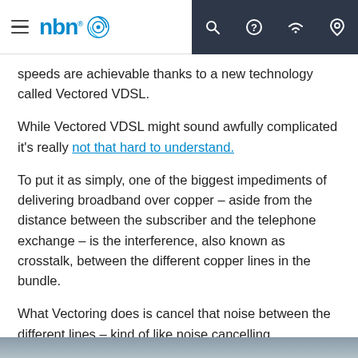nbn [logo] — navigation header with hamburger menu, search, help, wifi, location icons
speeds are achievable thanks to a new technology called Vectored VDSL.
While Vectored VDSL might sound awfully complicated it's really not that hard to understand.
To put it as simply, one of the biggest impediments of delivering broadband over copper – aside from the distance between the subscriber and the telephone exchange – is the interference, also known as crosstalk, between the different copper lines in the bundle.
What Vectoring does is cancel that noise between the different lines – kind of like noise cancelling headphones you might wear on a plane.
[Figure (photo): Bottom strip - partial image visible at bottom of page]